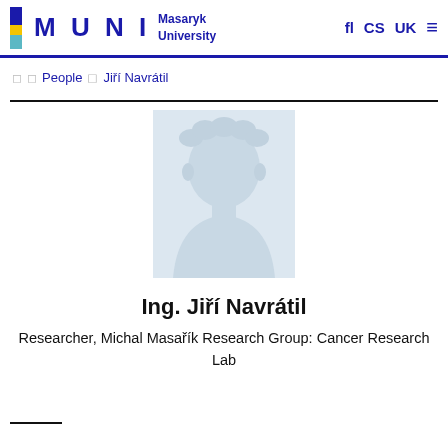MUNI Masaryk University — CS UK navigation header
❯ ❯ People ❯ Jiří Navrátil
[Figure (illustration): Placeholder silhouette profile photo of a person on light blue-grey background]
Ing. Jiří Navrátil
Researcher, Michal Masařík Research Group: Cancer Research Lab